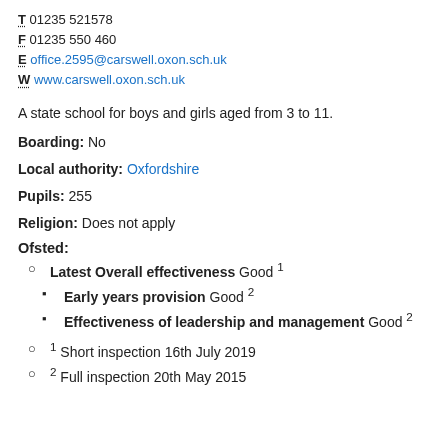T 01235 521578
F 01235 550 460
E office.2595@carswell.oxon.sch.uk
W www.carswell.oxon.sch.uk
A state school for boys and girls aged from 3 to 11.
Boarding: No
Local authority: Oxfordshire
Pupils: 255
Religion: Does not apply
Ofsted:
Latest Overall effectiveness Good 1
Early years provision Good 2
Effectiveness of leadership and management Good 2
1 Short inspection 16th July 2019
2 Full inspection 20th May 2015